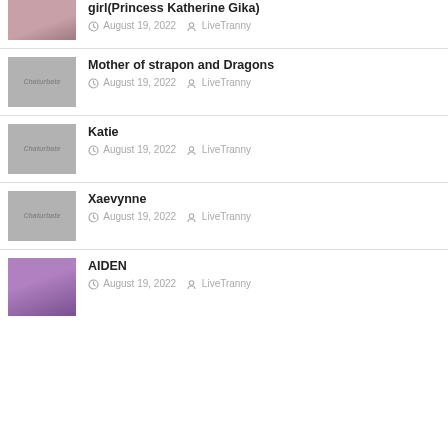Busty Chaturbate – The Boring Trans girl(Princess Katherine Gika) August 19, 2022 LiveTranny
Mother of strapon and Dragons August 19, 2022 LiveTranny
Katie August 19, 2022 LiveTranny
Xaevynne August 19, 2022 LiveTranny
AIDEN August 19, 2022 LiveTranny